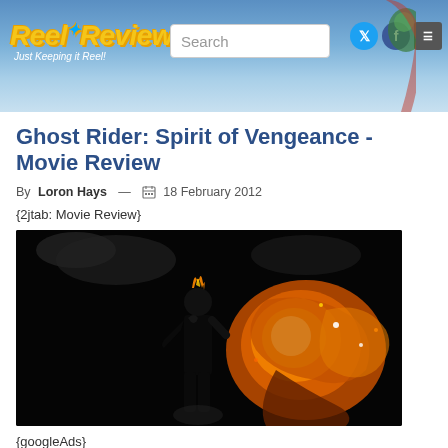Reel Reviews - Just Keeping it Reel | Search
Ghost Rider: Spirit of Vengeance - Movie Review
By Loron Hays — 18 February 2012
{2jtab: Movie Review}
[Figure (photo): Ghost Rider character standing in dark background with large flame/fire burst to the right side, movie promotional image]
{googleAds}
<div style="float:left">